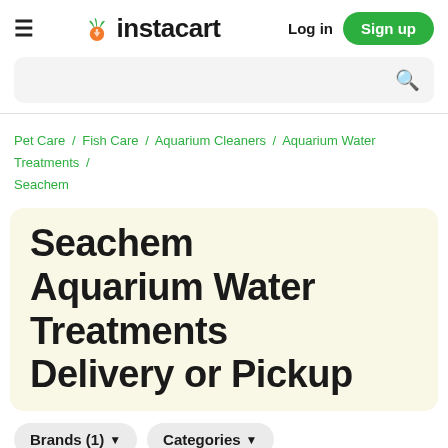≡  instacart  Log in  Sign up
Pet Care / Fish Care / Aquarium Cleaners / Aquarium Water Treatments / Seachem
Seachem Aquarium Water Treatments Delivery or Pickup
Brands (1)  Categories